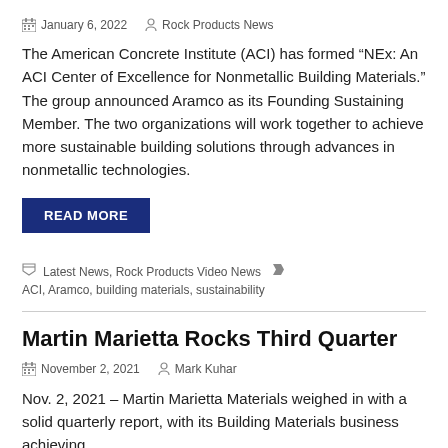January 6, 2022   Rock Products News
The American Concrete Institute (ACI) has formed “NEx: An ACI Center of Excellence for Nonmetallic Building Materials.” The group announced Aramco as its Founding Sustaining Member. The two organizations will work together to achieve more sustainable building solutions through advances in nonmetallic technologies.
READ MORE
Latest News, Rock Products Video News   ACI, Aramco, building materials, sustainability
Martin Marietta Rocks Third Quarter
November 2, 2021   Mark Kuhar
Nov. 2, 2021 – Martin Marietta Materials weighed in with a solid quarterly report, with its Building Materials business achieving